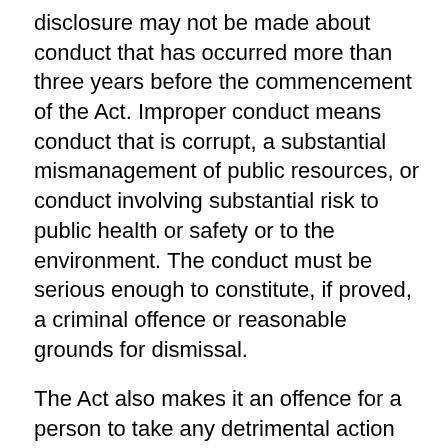disclosure may not be made about conduct that has occurred more than three years before the commencement of the Act. Improper conduct means conduct that is corrupt, a substantial mismanagement of public resources, or conduct involving substantial risk to public health or safety or to the environment. The conduct must be serious enough to constitute, if proved, a criminal offence or reasonable grounds for dismissal.
The Act also makes it an offence for a person to take any detrimental action against a person in reprisal for a protected disclosure.
The Ombudsman has a central role in handling disclosures of improper conduct made under the Act, including the preparation and publication of guidelines to assist public bodies in interpreting and complying with the Act.